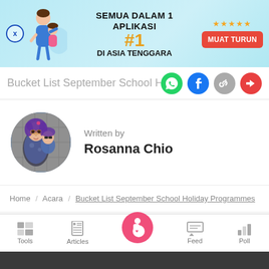[Figure (screenshot): App advertisement banner: 'SEMUA DALAM 1 APLIKASI #1 DI ASIA TENGGARA' with MUAT TURUN button, family illustration, star ratings, close button]
Bucket List September School Holida
[Figure (illustration): Author profile photo of Rosanna Chio - woman holding child, circular crop]
Written by
Rosanna Chio
Home / Acara / Bucket List September School Holiday Programmes
[Figure (screenshot): Bottom navigation bar with Tools, Articles, center pregnant woman icon, Feed, Poll]
We use cookies to ensure you get the best experience.
Learn More   Ok, Got it